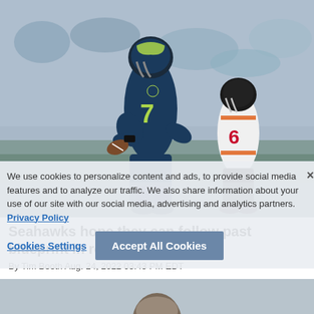[Figure (photo): NFL football game photo showing a Seattle Seahawks player wearing navy jersey number 7 running with a football, with a Chicago Bears player in white jersey number 6 in the background, stadium crowd visible]
We use cookies to personalize content and ads, to provide social media features and to analyze our traffic. We also share information about your use of our site with our social media, advertising and analytics partners. Privacy Policy
Seahawks hope they can follow past blueprint in rebuild
By Tim Booth Aug. 24, 2022 03:43 PM EDT
Cookies Settings    Accept All Cookies
[Figure (photo): Partial view of a person at the bottom of the page]